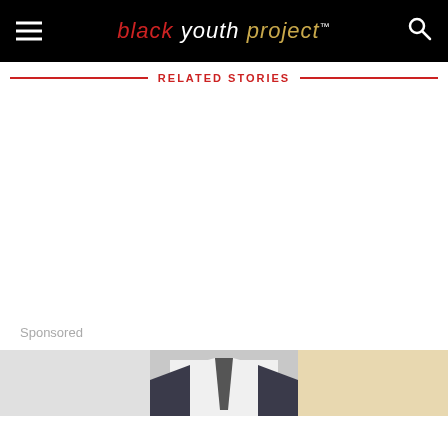black youth project™
RELATED STORIES
Sponsored
[Figure (photo): Partial view of a person in a suit and tie, cropped at the bottom of the page]